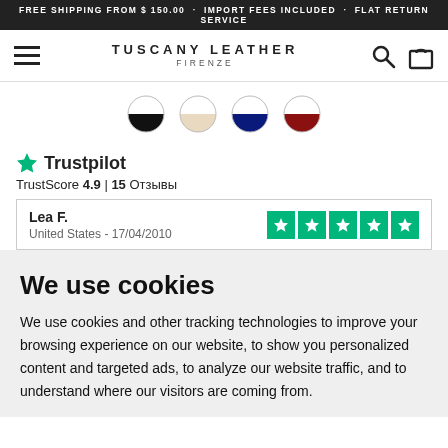FREE SHIPPING FROM $ 150.00 · IMPORT FEES INCLUDED · FLAT RETURN SERVICE
[Figure (logo): Tuscany Leather Firenze logo with hamburger menu icon, search icon, and shopping bag icon in navigation bar]
[Figure (illustration): Four color swatches (half-circles): black, beige/cream, dark blue, dark red]
★ Trustpilot
TrustScore 4.9 | 15 Отзывы
Lea F.
United States - 17/04/2010
We use cookies
We use cookies and other tracking technologies to improve your browsing experience on our website, to show you personalized content and targeted ads, to analyze our website traffic, and to understand where our visitors are coming from.